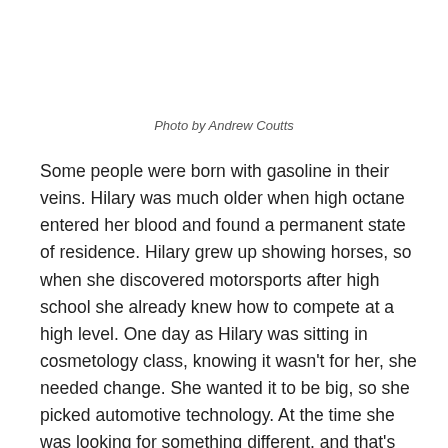Photo by Andrew Coutts
Some people were born with gasoline in their veins. Hilary was much older when high octane entered her blood and found a permanent state of residence. Hilary grew up showing horses, so when she discovered motorsports after high school she already knew how to compete at a high level. One day as Hilary was sitting in cosmetology class, knowing it wasn't for her, she needed change. She wanted it to be big, so she picked automotive technology. At the time she was looking for something different, and that's where she found who she was.